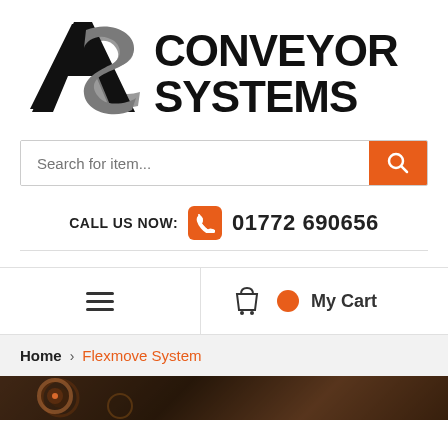[Figure (logo): AS Conveyor Systems logo with stylized AS monogram and bold text CONVEYOR SYSTEMS]
[Figure (screenshot): Search bar with placeholder text 'Search for item...' and orange search button]
CALL US NOW: 01772 690656
[Figure (screenshot): Navigation bar with hamburger menu icon on left and shopping cart with orange dot and 'My Cart' text on right]
Home > Flexmove System
[Figure (photo): Dark partial photo of industrial conveyor machinery at bottom of page]